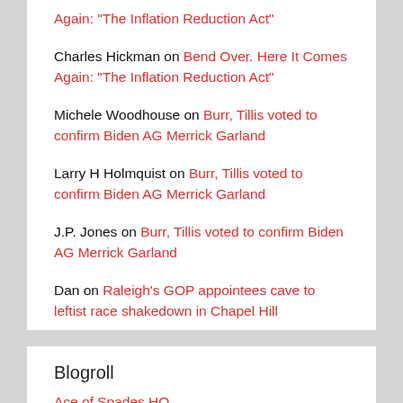Charles Hickman on Bend Over. Here It Comes Again: "The Inflation Reduction Act"
Michele Woodhouse on Burr, Tillis voted to confirm Biden AG Merrick Garland
Larry H Holmquist on Burr, Tillis voted to confirm Biden AG Merrick Garland
J.P. Jones on Burr, Tillis voted to confirm Biden AG Merrick Garland
Dan on Raleigh's GOP appointees cave to leftist race shakedown in Chapel Hill
Blogroll